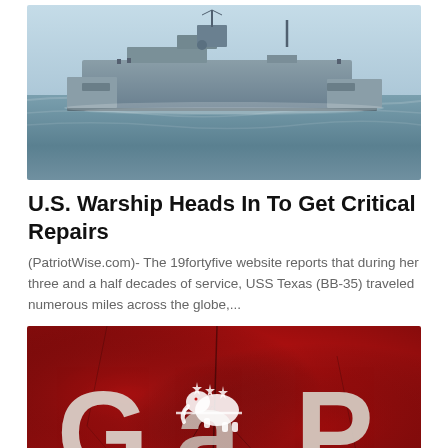[Figure (photo): A U.S. Navy warship viewed from the side sailing on open blue-grey ocean water with a light blue sky in the background.]
U.S. Warship Heads In To Get Critical Repairs
(PatriotWise.com)- The 19fortyfive website reports that during her three and a half decades of service, USS Texas (BB-35) traveled numerous miles across the globe,...
[Figure (photo): A red cracked wall background with large white stylized letters spelling 'GaP' overlaid with a Republican party elephant symbol in the center letter 'a'.]